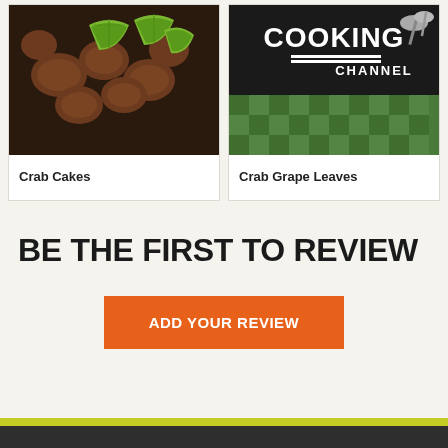[Figure (photo): Photo of crab cakes with lime wedges on a dark plate]
Crab Cakes
[Figure (photo): Cooking Channel logo on dark background with green checkered cloth]
Crab Grape Leaves
BE THE FIRST TO REVIEW
ADD YOUR REVIEW